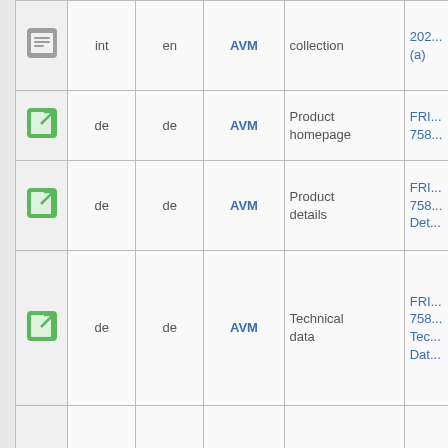| Icon | Lang1 | Lang2 | Brand | Description | Link |
| --- | --- | --- | --- | --- | --- |
| [icon-gray] | int | en | AVM | collection | 202... (a) |
| [icon-green] | de | de | AVM | Product homepage | FRI... 758... |
| [icon-green] | de | de | AVM | Product details | FRI... 758... Det... |
| [icon-green] | de | de | AVM | Technical data | FRI... 758... Tec... Dat... |
| [icon-gray] | de | de | AVM | Service portal | Ser... por... 202... (a) |
| [icon-gray] | de | de | AVM | FAQ collection | FAQ colle... 202... (a) |
| [icon-gray] | at | de | AVM | Service portal | Ser... por... 202... |